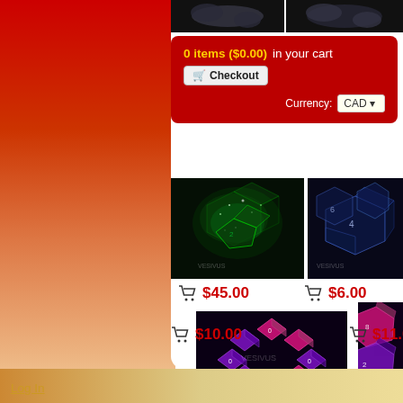0 items ($0.00) in your cart [Checkout]
Currency: CAD
[Figure (photo): Green glitter translucent dice set on black background with green glow]
$45.00
[Figure (photo): Dark blue polyhedral dice set with silver/white numbering]
$6.00
[Figure (photo): Pink and purple two-tone d10 dice arranged in a diamond/circle pattern on dark background with Vesivus watermark]
$10.00
[Figure (photo): Partially visible pink and purple dice set on dark background with Vesivus watermark]
$11.00
Log In